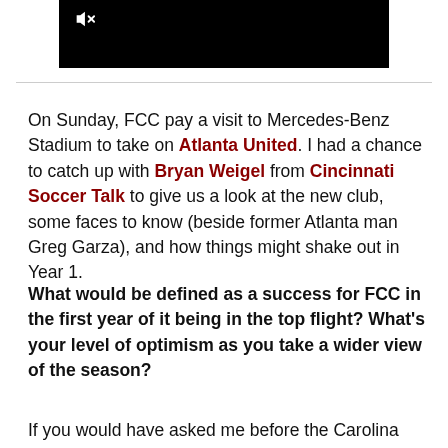[Figure (screenshot): Black video player thumbnail with mute icon in upper left]
On Sunday, FCC pay a visit to Mercedes-Benz Stadium to take on Atlanta United. I had a chance to catch up with Bryan Weigel from Cincinnati Soccer Talk to give us a look at the new club, some faces to know (beside former Atlanta man Greg Garza), and how things might shake out in Year 1.
What would be defined as a success for FCC in the first year of it being in the top flight? What's your level of optimism as you take a wider view of the season?
If you would have asked me before the Carolina